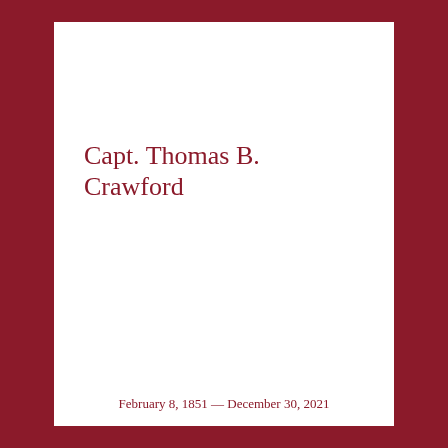Capt. Thomas B. Crawford
February 8, 1851 — December 30, 2021